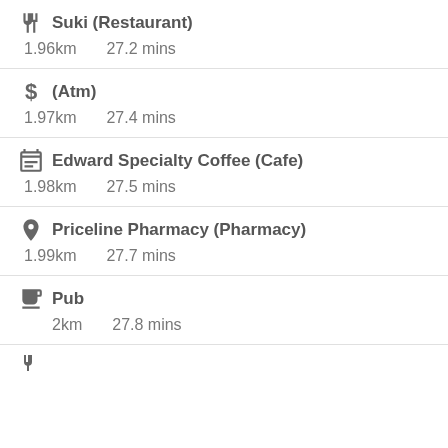Suki (Restaurant) — 1.96km, 27.2 mins
(Atm) — 1.97km, 27.4 mins
Edward Specialty Coffee (Cafe) — 1.98km, 27.5 mins
Priceline Pharmacy (Pharmacy) — 1.99km, 27.7 mins
Pub — 2km, 27.8 mins